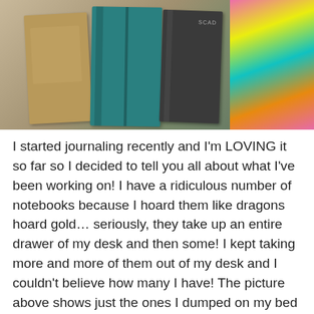[Figure (photo): Photo of multiple notebooks/journals of various colors (tan, teal, dark gray) scattered on a bed with colorful fabric/clothing visible on the right side. One dark notebook has 'SCAD' printed on it.]
I started journaling recently and I'm LOVING it so far so I decided to tell you all about what I've been working on! I have a ridiculous number of notebooks because I hoard them like dragons hoard gold… seriously, they take up an entire drawer of my desk and then some! I kept taking more and more of them out of my desk and I couldn't believe how many I have! The picture above shows just the ones I dumped on my bed – that's not even all of them, because I thought I'd found them all but then I discovered three or four more later. Oops.
So I decided to try keeping an art journal! I've never had success with a diary because I always forget to write in it, and I rarely do any lengthy writing (essays, short stories…